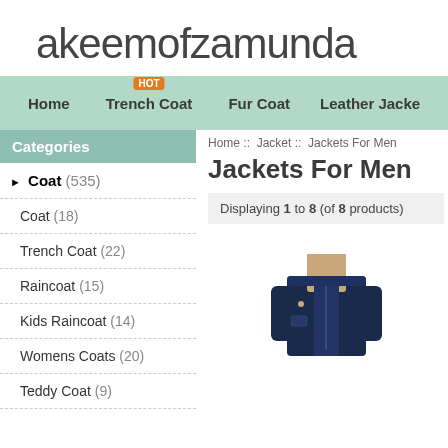akeemofzamunda
Home | Trench Coat | Fur Coat | Leather Jacket
Home :: Jacket :: Jackets For Men
Jackets For Men
Displaying 1 to 8 (of 8 products)
Coat (535)
Coat (18)
Trench Coat (22)
Raincoat (15)
Kids Raincoat (14)
Womens Coats (20)
Teddy Coat (9)
[Figure (photo): Navy blue men's jacket with beige lining, standing collar, front zipper]